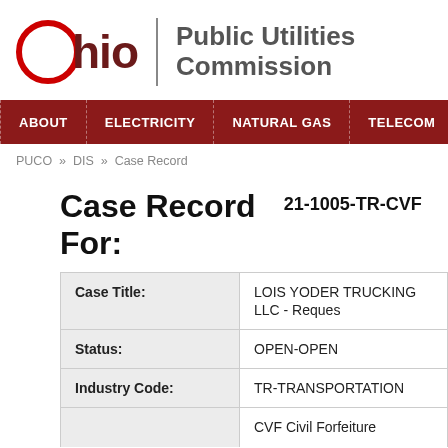[Figure (logo): Ohio Public Utilities Commission logo with red circle O and dark red 'hio' text, vertical divider, and 'Public Utilities Commission' in gray bold text]
ABOUT | ELECTRICITY | NATURAL GAS | TELECOM
PUCO » DIS » Case Record
Case Record For:  21-1005-TR-CVF
| Case Title: | LOIS YODER TRUCKING LLC - Reques... |
| Status: | OPEN-OPEN |
| Industry Code: | TR-TRANSPORTATION |
| CVF Civil Forfeiture |  |